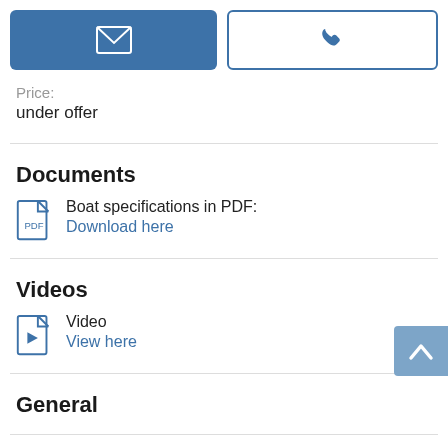[Figure (screenshot): Two buttons: a blue email button with envelope icon and a white phone button with phone icon]
Price:
under offer
Documents
Boat specifications in PDF: Download here
Videos
Video View here
General